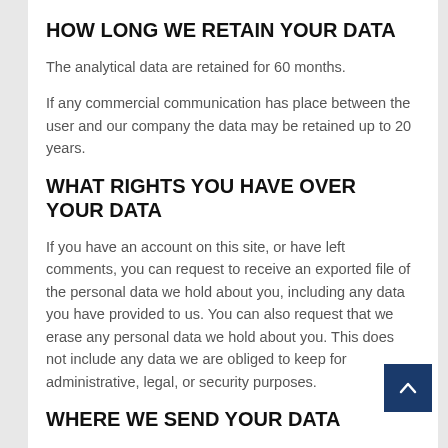HOW LONG WE RETAIN YOUR DATA
The analytical data are retained for 60 months.
If any commercial communication has place between the user and our company the data may be retained up to 20 years.
WHAT RIGHTS YOU HAVE OVER YOUR DATA
If you have an account on this site, or have left comments, you can request to receive an exported file of the personal data we hold about you, including any data you have provided to us. You can also request that we erase any personal data we hold about you. This does not include any data we are obliged to keep for administrative, legal, or security purposes.
WHERE WE SEND YOUR DATA